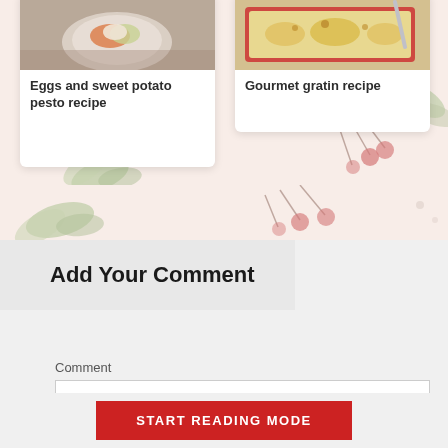[Figure (photo): Food photo: eggs and sweet potato pesto dish on a plate, top-down view]
Eggs and sweet potato pesto recipe
[Figure (photo): Food photo: gourmet gratin in a baking dish with golden crust]
Gourmet gratin recipe
[Figure (illustration): Decorative botanical illustration with green leaves and pink round berries on stems, light background]
Add Your Comment
Comment
START READING MODE